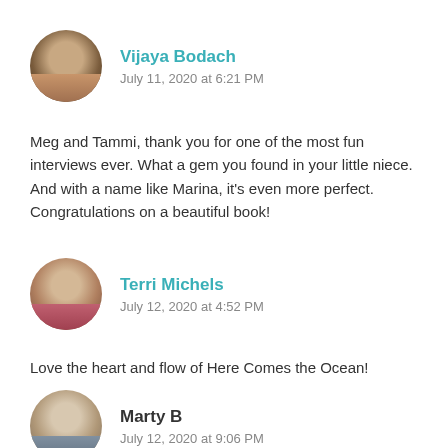[Figure (photo): Round avatar of Vijaya Bodach, a woman with dark hair]
Vijaya Bodach
July 11, 2020 at 6:21 PM
Meg and Tammi, thank you for one of the most fun interviews ever. What a gem you found in your little niece. And with a name like Marina, it's even more perfect. Congratulations on a beautiful book!
[Figure (photo): Round avatar of Terri Michels, a woman with glasses and short hair wearing a pink jacket]
Terri Michels
July 12, 2020 at 4:52 PM
Love the heart and flow of Here Comes the Ocean!
[Figure (photo): Round avatar of Marty B, an older woman with light hair]
Marty B
July 12, 2020 at 9:06 PM